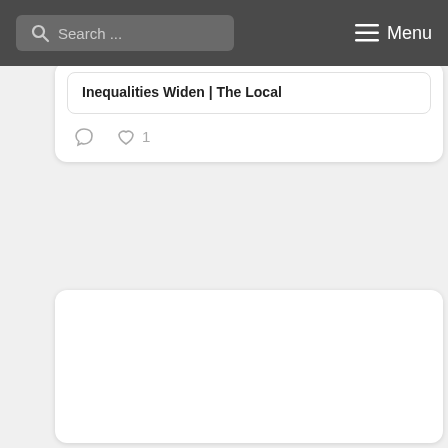Search ... Menu
Inequalities Widen | The Local
1
[Figure (screenshot): A large white card panel, mostly blank/loading content area]